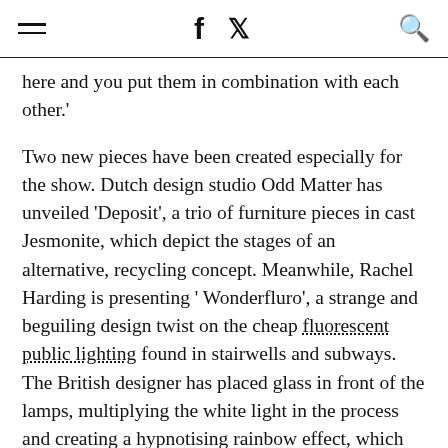≡  f  🐦  🔍
here and you put them in combination with each other.'
Two new pieces have been created especially for the show. Dutch design studio Odd Matter has unveiled 'Deposit', a trio of furniture pieces in cast Jesmonite, which depict the stages of an alternative, recycling concept. Meanwhile, Rachel Harding is presenting 'Wonderfluro', a strange and beguiling design twist on the cheap fluorescent public lighting found in stairwells and subways. The British designer has placed glass in front of the lamps, multiplying the white light in the process and creating a hypnotising rainbow effect, which changes as viewers move across them.
Other highlights include Martijn Rigters' sublime